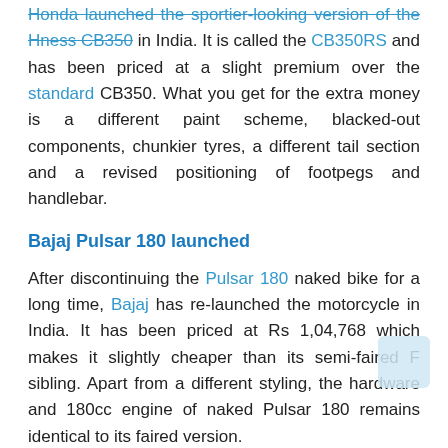Honda launched the sportier-looking version of the Hness CB350 in India. It is called the CB350RS and has been priced at a slight premium over the standard CB350. What you get for the extra money is a different paint scheme, blacked-out components, chunkier tyres, a different tail section and a revised positioning of footpegs and handlebar.
Bajaj Pulsar 180 launched
After discontinuing the Pulsar 180 naked bike for a long time, Bajaj has re-launched the motorcycle in India. It has been priced at Rs 1,04,768 which makes it slightly cheaper than its semi-faired F sibling. Apart from a different styling, the hardware and 180cc engine of naked Pulsar 180 remains identical to its faired version.
Benelli Leoncino 500 BS6 launched
Benelli introduced the BS6-compliant iteration of its middle-